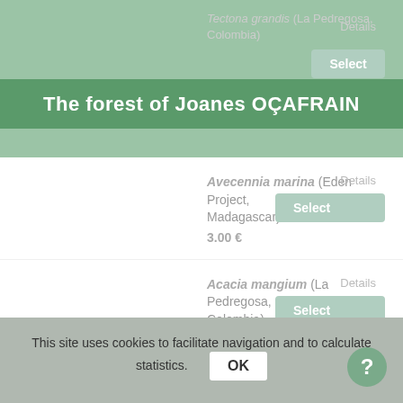The forest of Joanes OÇAFRAIN
Avecennia marina (Eden Project, Madagascar) 3.00 €
Acacia mangium (La Pedregosa, Colombia) 11.00 €
Anacardium occidentale (La Pedregosa, Colombia) 18.75 €
This site uses cookies to facilitate navigation and to calculate statistics.